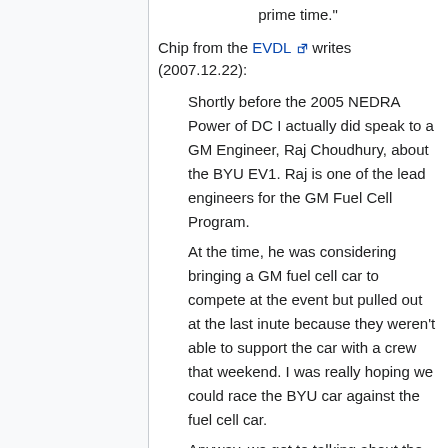prime time."
Chip from the EVDL writes (2007.12.22):
Shortly before the 2005 NEDRA Power of DC I actually did speak to a GM Engineer, Raj Choudhury, about the BYU EV1. Raj is one of the lead engineers for the GM Fuel Cell Program.
At the time, he was considering bringing a GM fuel cell car to compete at the event but pulled out at the last inute because they weren't able to support the car with a crew that weekend. I was really hoping we could race the BYU car against the fuel cell car.
Anyway, we got to talking about the BYU EV1 and Raj thought it was great project and he mentioned the